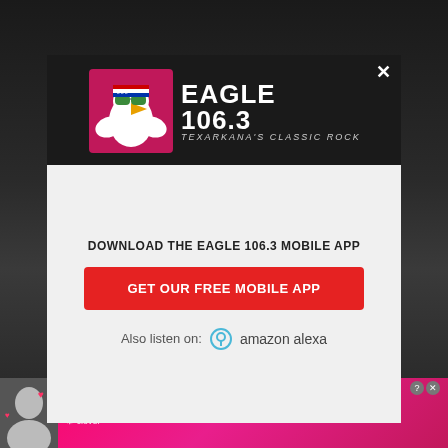[Figure (logo): Eagle 106.3 Texarkana's Classic Rock radio station logo featuring a bald eagle wearing sunglasses and an American flag bandana, with the text EAGLE 106.3 and TEXARKANA'S CLASSIC ROCK]
DOWNLOAD THE EAGLE 106.3 MOBILE APP
GET OUR FREE MOBILE APP
Also listen on: amazon alexa
[Figure (photo): Advertisement banner: MEET WITH LOCAL SINGLES - clover app, showing a woman smiling with heart emojis]